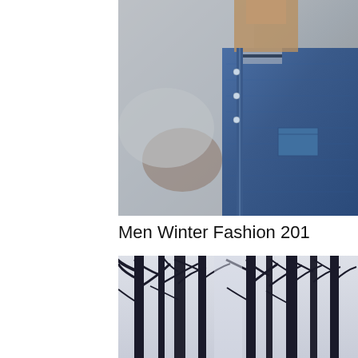[Figure (photo): Close-up photo of a man wearing a denim jacket, blurred winter background, cropped at shoulder/collar level]
Men Winter Fashion 201
[Figure (photo): Black and white photo of bare winter trees with high contrast, dark branches against light sky]